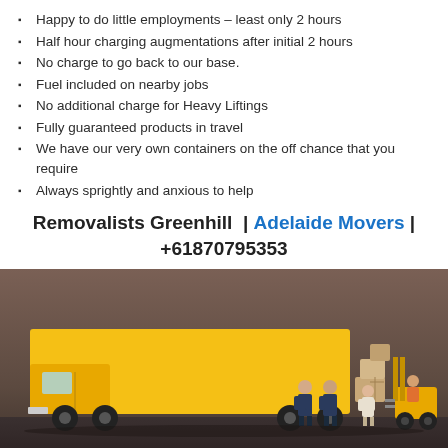Happy to do little employments – least only 2 hours
Half hour charging augmentations after initial 2 hours
No charge to go back to our base.
Fuel included on nearby jobs
No additional charge for Heavy Liftings
Fully guaranteed products in travel
We have our very own containers on the off chance that you require
Always sprightly and anxious to help
Removalists Greenhill | Adelaide Movers | +61870795353
[Figure (photo): Miniature figurines of workers loading boxes onto a yellow truck, with a yellow forklift on the right, set against a brown/grey blurred background.]